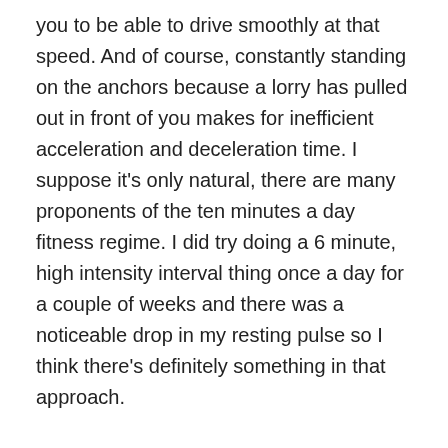you to be able to drive smoothly at that speed. And of course, constantly standing on the anchors because a lorry has pulled out in front of you makes for inefficient acceleration and deceleration time. I suppose it's only natural, there are many proponents of the ten minutes a day fitness regime. I did try doing a 6 minute, high intensity interval thing once a day for a couple of weeks and there was a noticeable drop in my resting pulse so I think there's definitely something in that approach.
Similarly the ten minutes a day approach to writing, in the last year that I was able to keep it up consistently, 2019, it netted me a stupid amount of words at a point when they weren't really coming that easily. OK, so, in 2020 it was different. I managed 55k in a couple of months as I changed my 30k short into Too Good To Be True. But that